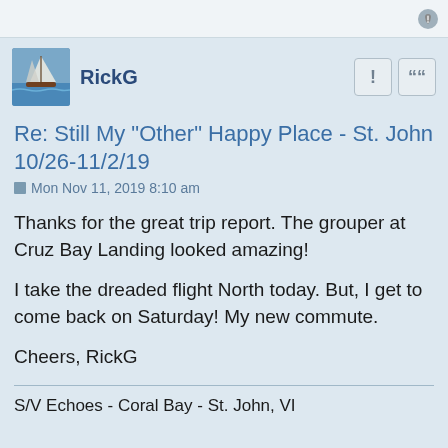RickG
Re: Still My "Other" Happy Place - St. John 10/26-11/2/19
Mon Nov 11, 2019 8:10 am
Thanks for the great trip report. The grouper at Cruz Bay Landing looked amazing!
I take the dreaded flight North today. But, I get to come back on Saturday! My new commute.
Cheers, RickG
S/V Echoes - Coral Bay - St. John, VI